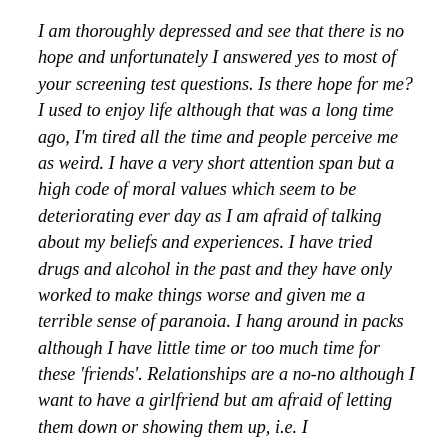I am thoroughly depressed and see that there is no hope and unfortunately I answered yes to most of your screening test questions.  Is there hope for me?  I used to enjoy life although that was a long time ago, I'm tired all the time and people perceive me as weird.  I have a very short attention span but a high code of moral values which seem to be deteriorating ever day as I am afraid of talking about my beliefs and experiences.  I have tried drugs and alcohol in the past and they have only worked to make things worse and given me a terrible sense of paranoia.  I hang around in packs although I have little time or too much time for these 'friends'.  Relationships are a no-no although I want to have a girlfriend but am afraid of letting them down or showing them up, i.e.  I